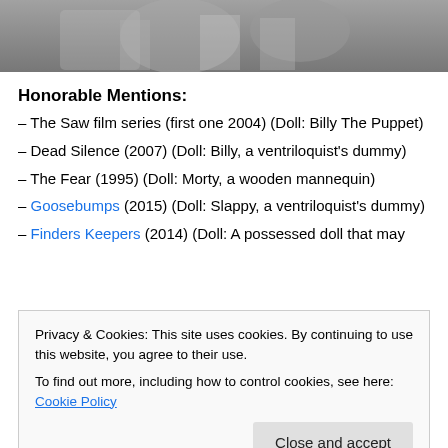[Figure (photo): Black and white photograph, partially visible at top of page, showing people in what appears to be a vintage scene.]
Honorable Mentions:
– The Saw film series (first one 2004) (Doll: Billy The Puppet)
– Dead Silence (2007) (Doll: Billy, a ventriloquist's dummy)
– The Fear (1995) (Doll: Morty, a wooden mannequin)
– Goosebumps (2015) (Doll: Slappy, a ventriloquist's dummy)
– Finders Keepers (2014) (Doll: A possessed doll that may
Privacy & Cookies: This site uses cookies. By continuing to use this website, you agree to their use. To find out more, including how to control cookies, see here: Cookie Policy
– Demonic Toys (1992)